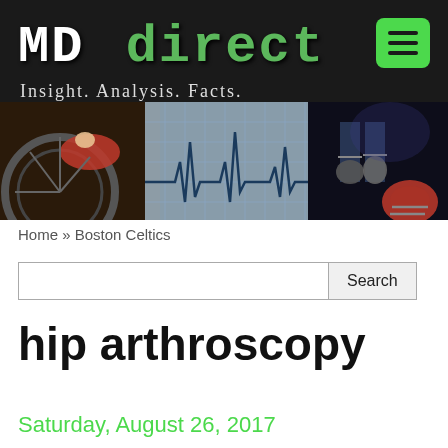[Figure (screenshot): MD direct website header banner with logo 'MD direct', tagline 'Insight. Analysis. Facts.', green hamburger menu button, and sports/medical composite background image showing cyclist, ECG trace, and football equipment]
Home » Boston Celtics
Search
hip arthroscopy
Saturday, August 26, 2017